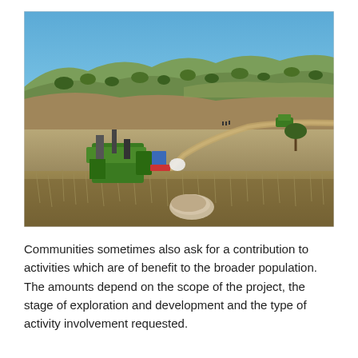[Figure (photo): Aerial/landscape photograph of an arid, grassy hillside with a dirt track winding through it. In the foreground-left is green machinery or equipment covered with a green tarp. In the background are rolling hills with sparse trees under a clear blue sky. A second green vehicle is visible in the mid-distance on the track.]
Communities sometimes also ask for a contribution to activities which are of benefit to the broader population. The amounts depend on the scope of the project, the stage of exploration and development and the type of activity involvement requested.